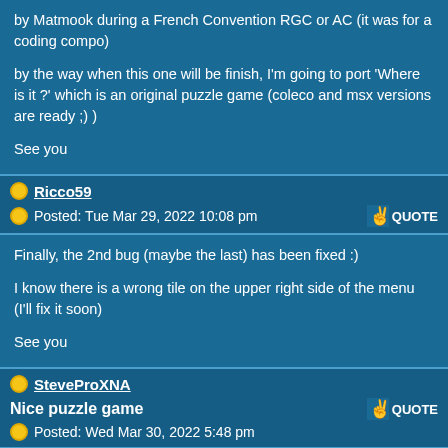by Matmook during a French Convention RGC or AC (it was for a coding compo)

by the way when this one will be finish, I'm going to port 'Where is it ?' which is an original puzzle game (coleco and msx versions are ready ;) )

See you
Ricco59
Posted: Tue Mar 29, 2022 10:08 pm
Finally, the 2nd bug (maybe the last) has been fixed :)

I know there is a wrong tile on the upper right side of the menu (I'll fix it soon)

See you
SteveProXNA
Nice puzzle game
Posted: Wed Mar 30, 2022 5:48 pm